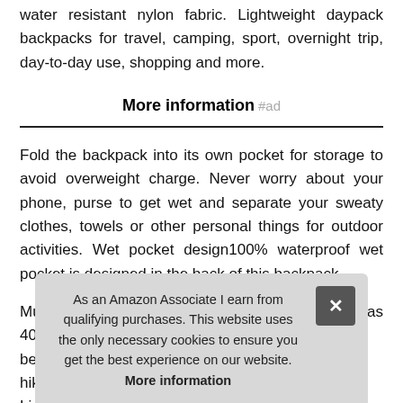water resistant nylon fabric. Lightweight daypack backpacks for travel, camping, sport, overnight trip, day-to-day use, shopping and more.
More information #ad
Fold the backpack into its own pocket for storage to avoid overweight charge. Never worry about your phone, purse to get wet and separate your sweaty clothes, towels or other personal things for outdoor activities. Wet pocket design100% waterproof wet pocket is designed in the back of this backpack.
Multi compartment designthis foldable backpack has 40l stor... be e... hiking... Ligh... com...
As an Amazon Associate I earn from qualifying purchases. This website uses the only necessary cookies to ensure you get the best experience on our website. More information